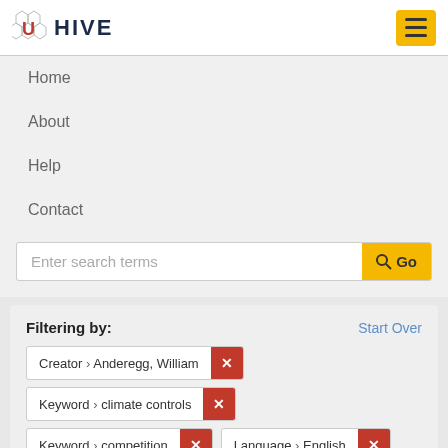U HIVE
Home
About
Help
Contact
Enter search terms
Filtering by:
Start Over
Creator › Anderegg, William
Keyword › climate controls
Keyword › competition
Language › English